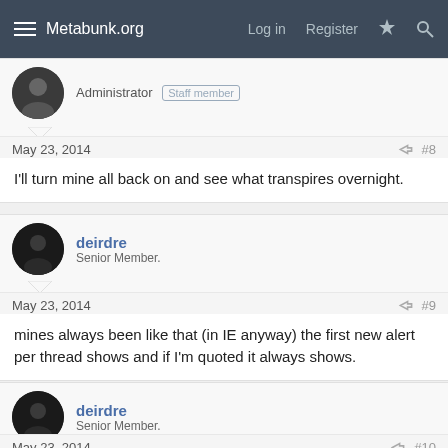Metabunk.org | Log in | Register
Administrator  Staff member
May 23, 2014  #8
I'll turn mine all back on and see what transpires overnight.
deirdre
Senior Member.
May 23, 2014  #9
mines always been like that (in IE anyway) the first new alert per thread shows and if I'm quoted it always shows.
deirdre
Senior Member.
May 23, 2014  #10